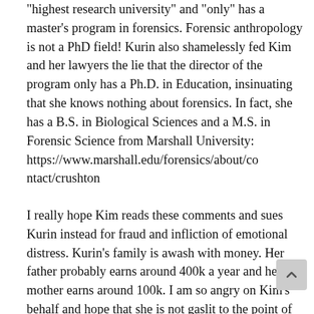"highest research university" and "only" has a master's program in forensics. Forensic anthropology is not a PhD field! Kurin also shamelessly fed Kim and her lawyers the lie that the director of the program only has a Ph.D. in Education, insinuating that she knows nothing about forensics. In fact, she has a B.S. in Biological Sciences and a M.S. in Forensic Science from Marshall University: https://www.marshall.edu/forensics/about/contact/crushton
I really hope Kim reads these comments and sues Kurin instead for fraud and infliction of emotional distress. Kurin's family is awash with money. Her father probably earns around 400k a year and her mother earns around 100k. I am so angry on Kim's behalf and hope that she is not gaslit to the point of no return. A mother's grief is very powerful, as Kurin well knows as a master manipulator.
It pains me to think that Kim may have been cradling an urn full of faked remains, maybe even some from Native Americans, thinking